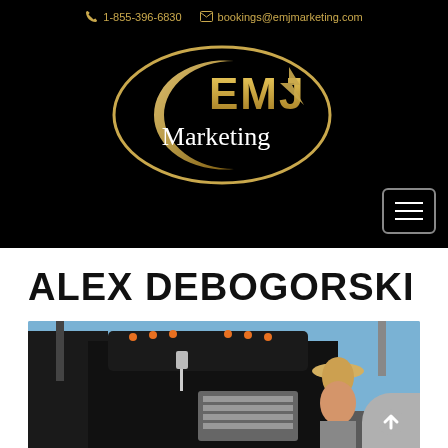1-855-396-6830   bookings@emjmarketing.com
[Figure (logo): EMJ Marketing logo — gold oval with stylized text 'EMJ' and word 'Marketing' on black background]
ALEX DEBOGORSKI
[Figure (photo): Photo of Alex Debogorski in a cowboy hat standing in front of a large black semi-truck, with blue sky in the background]